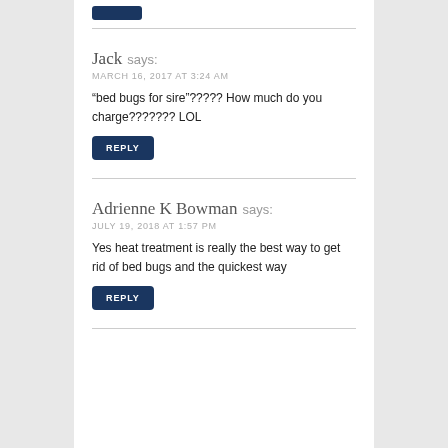[Figure (other): Dark blue reply button stub at top of page]
Jack says:
MARCH 16, 2017 AT 3:24 AM

"bed bugs for sire"????? How much do you charge??????? LOL
[Figure (other): REPLY button, dark blue]
Adrienne K Bowman says:
JULY 19, 2018 AT 1:57 PM

Yes heat treatment is really the best way to get rid of bed bugs and the quickest way
[Figure (other): REPLY button, dark blue]